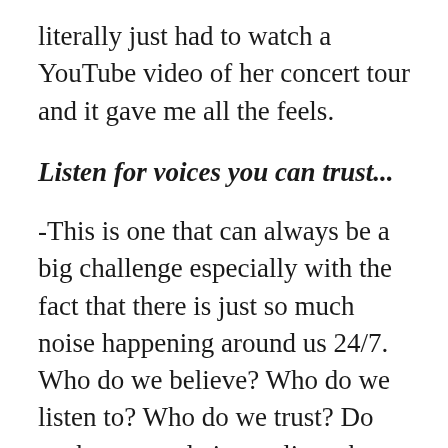literally just had to watch a YouTube video of her concert tour and it gave me all the feels.
Listen for voices you can trust...
-This is one that can always be a big challenge especially with the fact that there is just so much noise happening around us 24/7. Who do we believe? Who do we listen to? Who do we trust? Do we have people in our lives that we try to listen to more often than not because we